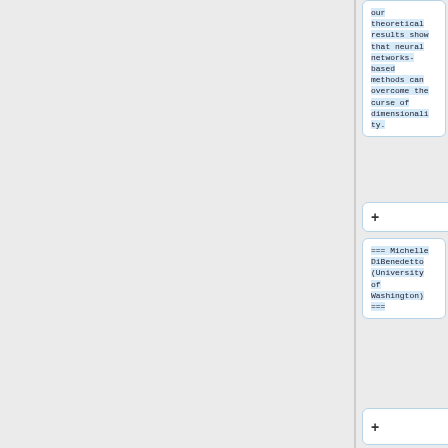our theoretical results show that neural networks-based methods can overcome the curse of dimensionality.
+
=== Michelle DiBenedetto (University of Washington) ===
+